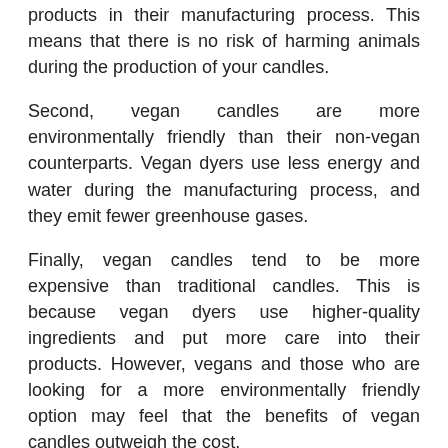products in their manufacturing process. This means that there is no risk of harming animals during the production of your candles.
Second, vegan candles are more environmentally friendly than their non-vegan counterparts. Vegan dyers use less energy and water during the manufacturing process, and they emit fewer greenhouse gases.
Finally, vegan candles tend to be more expensive than traditional candles. This is because vegan dyers use higher-quality ingredients and put more care into their products. However, vegans and those who are looking for a more environmentally friendly option may feel that the benefits of vegan candles outweigh the cost.
What Are The Disadvantages of Vegan Dye for Candles?